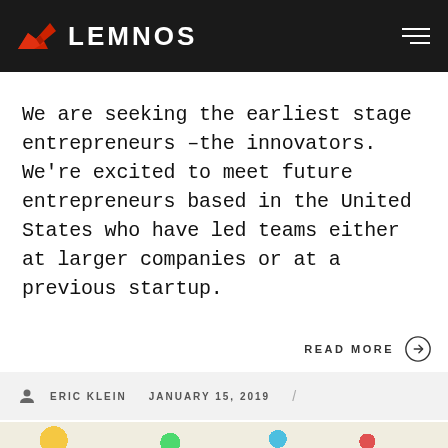LEMNOS
We are seeking the earliest stage entrepreneurs –the innovators. We're excited to meet future entrepreneurs based in the United States who have led teams either at larger companies or at a previous startup.
READ MORE →
ERIC KLEIN  JANUARY 15, 2019  /
[Figure (photo): Colorful map pins / thumbtacks on a map, partially visible at bottom of page]